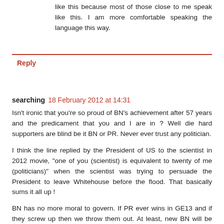like this because most of those close to me speak like this. I am more comfortable speaking the language this way.
Reply
searching 18 February 2012 at 14:31
Isn't ironic that you're so proud of BN's achievement after 57 years and the predicament that you and I are in ? Well die hard supporters are blind be it BN or PR. Never ever trust any politician.
I think the line replied by the President of US to the scientist in 2012 movie, "one of you (scientist) is equivalent to twenty of me (politicians)" when the scientist was trying to persuade the President to leave Whitehouse before the flood. That basically sums it all up !
BN has no more moral to govern. If PR ever wins in GE13 and if they screw up then we throw them out. At least, new BN will be reborn with more fear, and the...